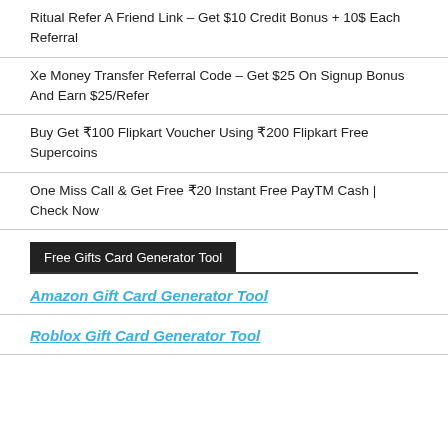Ritual Refer A Friend Link – Get $10 Credit Bonus + 10$ Each Referral
Xe Money Transfer Referral Code – Get $25 On Signup Bonus And Earn $25/Refer
Buy Get ₹100 Flipkart Voucher Using ₹200 Flipkart Free Supercoins
One Miss Call & Get Free ₹20 Instant Free PayTM Cash | Check Now
Free Gifts Card Generator Tool
Amazon Gift Card Generator Tool
Roblox Gift Card Generator Tool